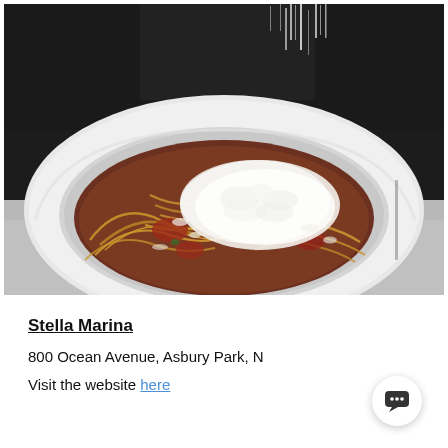[Figure (photo): A bowl of spaghetti with tomato sauce being topped with freshly grated parmesan cheese by a chef in black uniform. The pasta is served in a wide white rimmed bowl on a marble surface.]
Stella Marina
800 Ocean Avenue, Asbury Park, NJ
Visit the website here